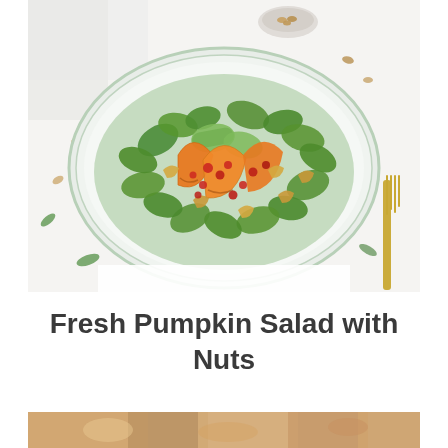[Figure (photo): A fresh pumpkin salad with nuts served on a round glass plate. The salad contains orange pumpkin slices, green leaves (field greens/mache), cashew nuts, pomegranate seeds, and cucumber slices. Served on a white surface with a gold fork visible on the right edge. A small bowl of nuts in the background.]
Fresh Pumpkin Salad with Nuts
[Figure (photo): Partial view of another food dish, cropped at the bottom of the page, showing warm tones of an autumn/harvest food preparation.]